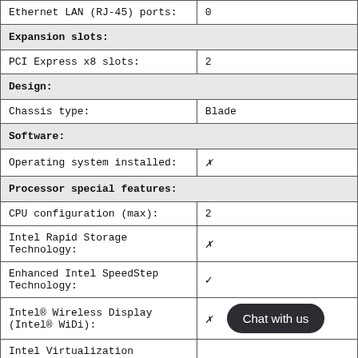| Feature | Value |
| --- | --- |
| Ethernet LAN (RJ-45) ports: | 0 |
| Expansion slots: |  |
| PCI Express x8 slots: | 2 |
| Design: |  |
| Chassis type: | Blade |
| Software: |  |
| Operating system installed: | ✗ |
| Processor special features: |  |
| CPU configuration (max): | 2 |
| Intel Rapid Storage Technology: | ✗ |
| Enhanced Intel SpeedStep Technology: | ✓ |
| Intel® Wireless Display (Intel® WiDi): | ✗ |
| Intel Virtualization |  |